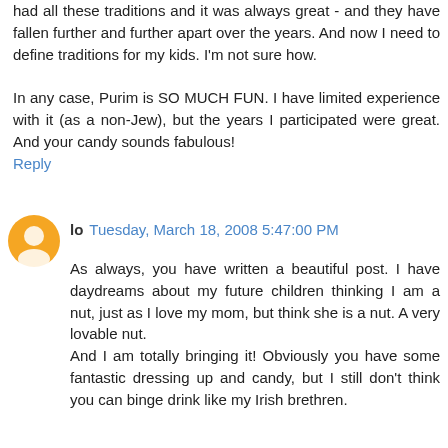had all these traditions and it was always great - and they have fallen further and further apart over the years. And now I need to define traditions for my kids. I'm not sure how.

In any case, Purim is SO MUCH FUN. I have limited experience with it (as a non-Jew), but the years I participated were great. And your candy sounds fabulous!
Reply
lo  Tuesday, March 18, 2008 5:47:00 PM
As always, you have written a beautiful post. I have daydreams about my future children thinking I am a nut, just as I love my mom, but think she is a nut. A very lovable nut.
And I am totally bringing it! Obviously you have some fantastic dressing up and candy, but I still don't think you can binge drink like my Irish brethren.
Reply